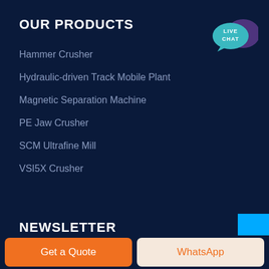OUR PRODUCTS
Hammer Crusher
Hydraulic-driven Track Mobile Plant
Magnetic Separation Machine
PE Jaw Crusher
SCM Ultrafine Mill
VSI5X Crusher
[Figure (illustration): Live Chat speech bubble icon with teal and purple colors]
NEWSLETTER
Get a Quote
WhatsApp